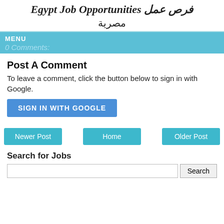Egypt Job Opportunities فرص عمل مصرية
MENU
0 Comments:
Post A Comment
To leave a comment, click the button below to sign in with Google.
SIGN IN WITH GOOGLE
Newer Post | Home | Older Post
Search for Jobs
Search